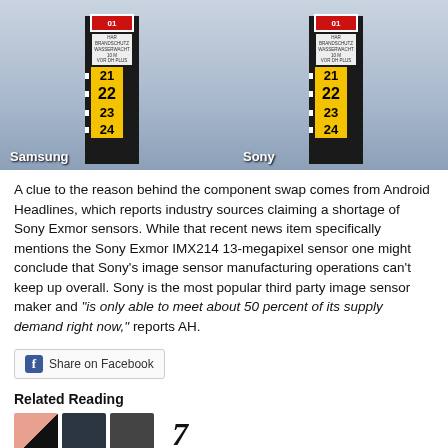[Figure (photo): Side-by-side comparison photo of water level gauge poles labeled Samsung (left) and Sony (right), showing numbered markers 21, 22, 23, 24 on yellow backgrounds against a water background.]
A clue to the reason behind the component swap comes from Android Headlines, which reports industry sources claiming a shortage of Sony Exmor sensors. While that recent news item specifically mentions the Sony Exmor IMX214 13-megapixel sensor one might conclude that Sony's image sensor manufacturing operations can't keep up overall. Sony is the most popular third party image sensor maker and "is only able to meet about 50 percent of its supply demand right now," reports AH.
[Figure (screenshot): Facebook Share on Facebook button]
Related Reading
[Figure (photo): Thumbnail images of related articles showing smartphone photos]